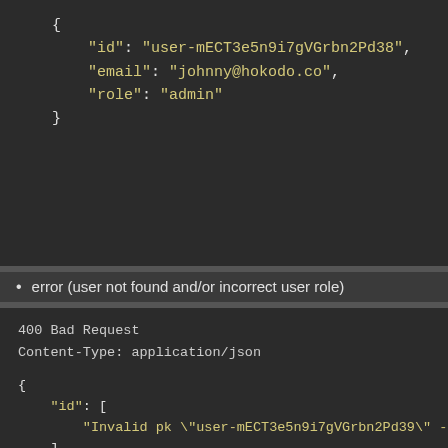[Figure (screenshot): NAV tab on left side of dark code panel]
{
    "id": "user-mECT3e5n9i7gVGrbn2Pd38",
    "email": "johnny@hokodo.co",
    "role": "admin"
}
error (user not found and/or incorrect user role)
400 Bad Request
Content-Type: application/json
{
    "id": [
        "Invalid pk \"user-mECT3e5n9i7gVGrbn2Pd39\" - object de
    ],
    "role": [
        "\"reader\" is not a valid choice."
    ]
}